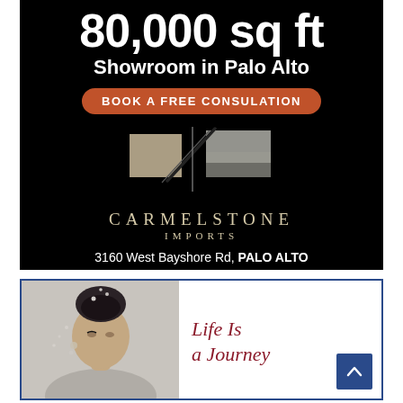[Figure (illustration): Black background advertisement for Carmelstone Imports showroom in Palo Alto. Shows large '80,000 sq ft' text, 'Showroom in Palo Alto', orange button saying 'BOOK A FREE CONSULATION', a marble/stone logo graphic, 'CARMELSTONE IMPORTS' brand text, address '3160 West Bayshore Rd, PALO ALTO' and phone '(650) 800-7840'.]
[Figure (illustration): White background advertisement with blue border. Shows a woman with hair up and water/jewelry splashes. Text 'Life Is a Journey' in dark red italic. Blue scroll-to-top button with upward arrow in bottom right corner. Partial view of additional text at bottom edge.]